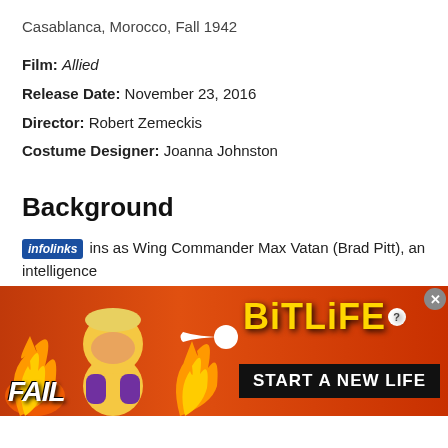Casablanca, Morocco, Fall 1942
Film: Allied
Release Date: November 23, 2016
Director: Robert Zemeckis
Costume Designer: Joanna Johnston
Background
On the eve of D-Day, when Allied forces landed on the beaches of France 74 years ago to turn the tide of World War II, I'm taking a look at a stylish wartime thriller that received plenty of attention for its sartorial sapience.
ins as Wing Commander Max Vatan (Brad Pitt), an intelligence
[Figure (screenshot): BitLife advertisement banner with FAIL text, cartoon character, flames, and START A NEW LIFE tagline]